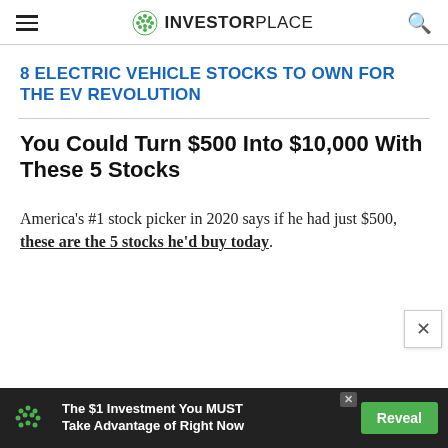INVESTORPLACE
8 ELECTRIC VEHICLE STOCKS TO OWN FOR THE EV REVOLUTION
You Could Turn $500 Into $10,000 With These 5 Stocks
America's #1 stock picker in 2020 says if he had just $500, these are the 5 stocks he'd buy today.
[Figure (infographic): Advertisement banner: The $1 Investment You MUST Take Advantage of Right Now, with Reveal button and green dot logo]